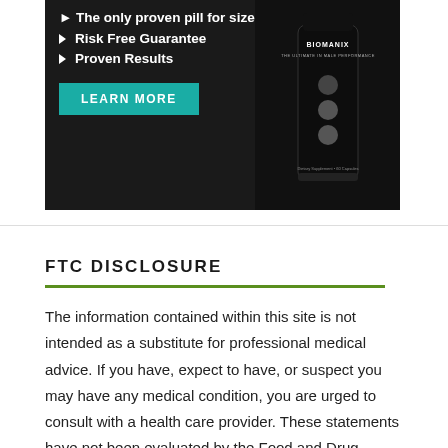[Figure (illustration): Advertisement banner for Biomanix supplement. Dark background with bullet points: 'The only proven pill for size', 'Risk Free Guarantee', 'Proven Results', a teal LEARN MORE button, and a product bottle image on the right.]
FTC DISCLOSURE
The information contained within this site is not intended as a substitute for professional medical advice. If you have, expect to have, or suspect you may have any medical condition, you are urged to consult with a health care provider. These statements have not been evaluated by the Food and Drug Administration.